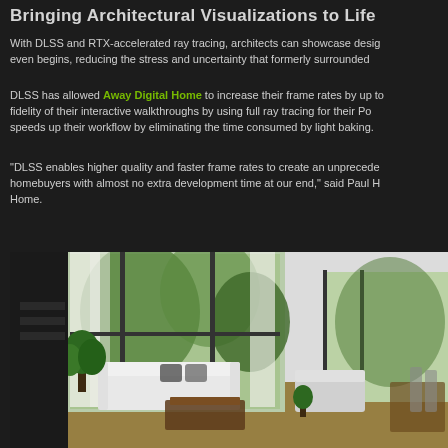Bringing Architectural Visualizations to Life
With DLSS and RTX-accelerated ray tracing, architects can showcase design even begins, reducing the stress and uncertainty that formerly surrounded
DLSS has allowed Away Digital Home to increase their frame rates by up to fidelity of their interactive walkthroughs by using full ray tracing for their Po speeds up their workflow by eliminating the time consumed by light baking.
“DLSS enables higher quality and faster frame rates to create an unprecede homebuyers with almost no extra development time at our end,” said Paul H Home.
[Figure (photo): Architectural visualization of a modern living room interior with high ceilings, floor-to-ceiling windows with sheer white curtains, white sofas, tropical plants, and an outdoor garden view. Rendered with RTX ray tracing.]